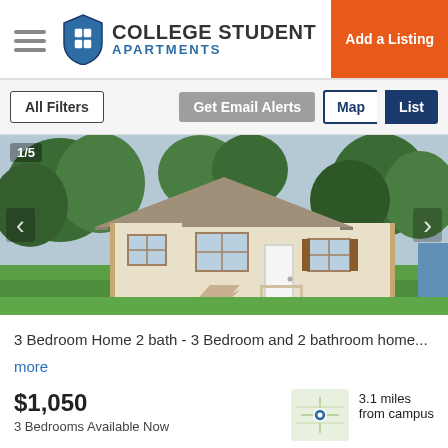COLLEGE STUDENT APARTMENTS | Add a Listing
All Filters | Get Email Alerts | Map | List
[Figure (photo): Exterior photo of a single-story ranch-style home with beige/cream siding, brown window shutters, white front door, small front porch with railing, concrete driveway, green lawn, surrounded by trees. Counter shows 1/5.]
3 Bedroom Home 2 bath - 3 Bedroom and 2 bathroom home...
more
$1,050
3 Bedrooms Available Now
3.1 miles from campus